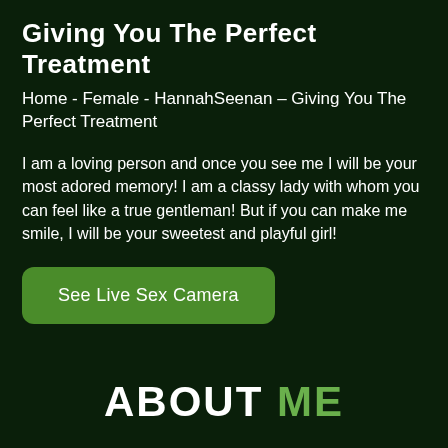Giving You The Perfect Treatment
Home - Female - HannahSeenan – Giving You The Perfect Treatment
I am a loving person and once you see me I will be your most adored memory! I am a classy lady with whom you can feel like a true gentleman! But if you can make me smile, I will be your sweetest and playful girl!
See Live Sex Camera
ABOUT ME